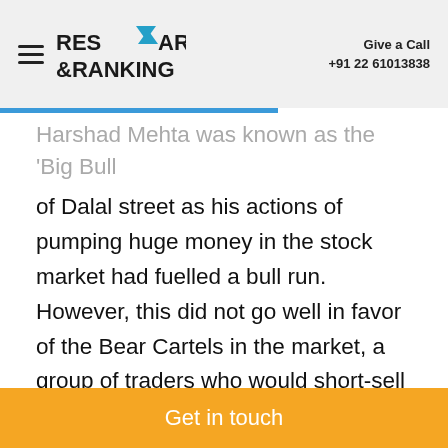Research & Ranking | Give a Call +91 22 61013838
Harshad Mehta was known as the 'Big Bull' of Dalal street as his actions of pumping huge money in the stock market had fuelled a bull run. However, this did not go well in favor of the Bear Cartels in the market, a group of traders who would short-sell stocks in large quantities to create a bear market and then purchase those stocks at a low price to make huge profits. There are many who claim that Harshad Mehta's ultimate
Get in touch